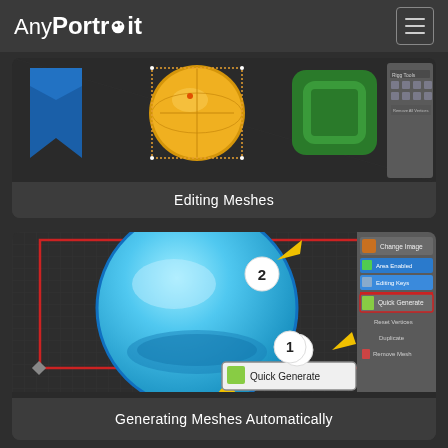AnyPortrait
[Figure (screenshot): Editing Meshes screenshot showing 3D mesh editing interface with colorful shapes (blue triangle, yellow sphere, green square) and mesh editing tools panel on the right]
Editing Meshes
[Figure (screenshot): Generating Meshes Automatically screenshot showing a blue water balloon shape with red bounding box, numbered callouts 1 and 2, yellow arrows, and Quick Generate button highlighted in the right panel]
Generating Meshes Automatically